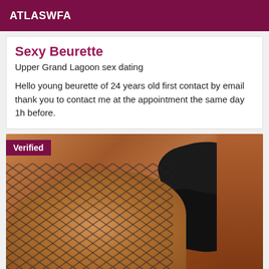ATLASWFA
Sexy Beurette
Upper Grand Lagoon sex dating
Hello young beurette of 24 years old first contact by email thank you to contact me at the appointment the same day 1h before.
[Figure (photo): Photo of a person wearing fishnet stockings and high heels with a 'Verified' badge overlay in the top-left corner]